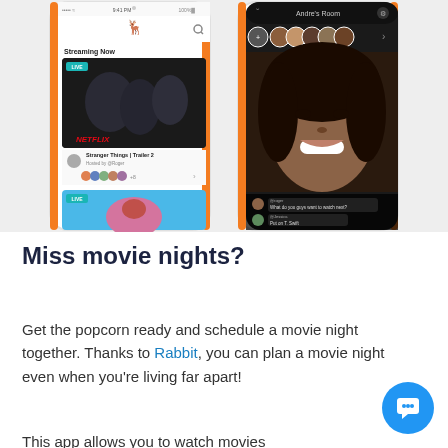[Figure (screenshot): Two smartphone screenshots side by side. Left phone shows a Rabbit app interface with 'Streaming Now' section displaying Netflix content - Stranger Things Trailer 2 hosted by @Roger with user avatars. Right phone shows a video chat room called 'Andre's Room' with a smiling woman's face and chat messages from @roger asking 'What do you guys want to watch next?' and @Jessica saying 'Put on T. Swift']
Miss movie nights?
Get the popcorn ready and schedule a movie night together. Thanks to Rabbit, you can plan a movie night even when you're living far apart!
This app allows you to watch movies